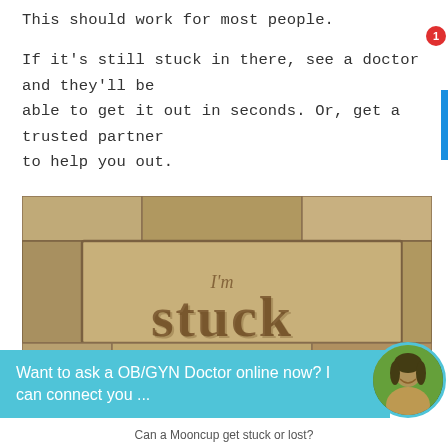This should work for most people.
If it's still stuck in there, see a doctor and they'll be able to get it out in seconds. Or, get a trusted partner to help you out.
[Figure (photo): A stone block with the words 'I'm stuck' carved into it, surrounded by other stone blocks.]
Want to ask a OB/GYN Doctor online now? I can connect you ...
Can a Mooncup get stuck or lost?